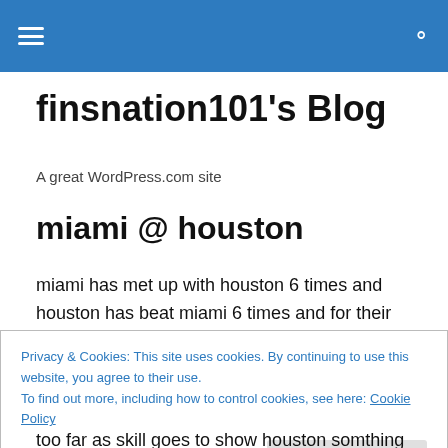finsnation101's Blog — navigation header bar
finsnation101's Blog
A great WordPress.com site
miami @ houston
miami has met up with houston 6 times and houston has beat miami 6 times and for their 7th match it doesnt look
Privacy & Cookies: This site uses cookies. By continuing to use this website, you agree to their use.
To find out more, including how to control cookies, see here: Cookie Policy
too far as skill goes to show houston somthing they